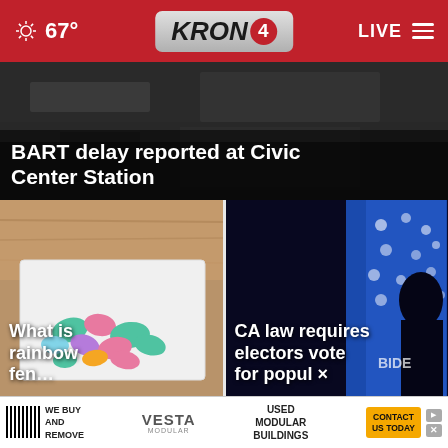67° KRON4 LIVE
[Figure (screenshot): Dark interior background image for BART story]
BART delay reported at Civic Center Station
[Figure (photo): Colorful rainbow fentanyl pills in a container on a wooden surface]
What is rainbow fen…
[Figure (photo): Dark stage backdrop with polka dot pattern and Biden campaign signage]
CA law requires electors vote for popul ×
[Figure (other): Advertisement: WE BUY AND REMOVE - VESTA MODULAR - USED MODULAR BUILDINGS - CONTACT US TODAY]